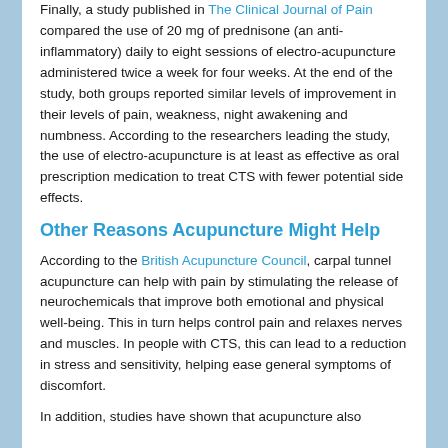Finally, a study published in The Clinical Journal of Pain compared the use of 20 mg of prednisone (an anti-inflammatory) daily to eight sessions of electro-acupuncture administered twice a week for four weeks. At the end of the study, both groups reported similar levels of improvement in their levels of pain, weakness, night awakening and numbness. According to the researchers leading the study, the use of electro-acupuncture is at least as effective as oral prescription medication to treat CTS with fewer potential side effects.
Other Reasons Acupuncture Might Help
According to the British Acupuncture Council, carpal tunnel acupuncture can help with pain by stimulating the release of neurochemicals that improve both emotional and physical well-being. This in turn helps control pain and relaxes nerves and muscles. In people with CTS, this can lead to a reduction in stress and sensitivity, helping ease general symptoms of discomfort.
In addition, studies have shown that acupuncture also